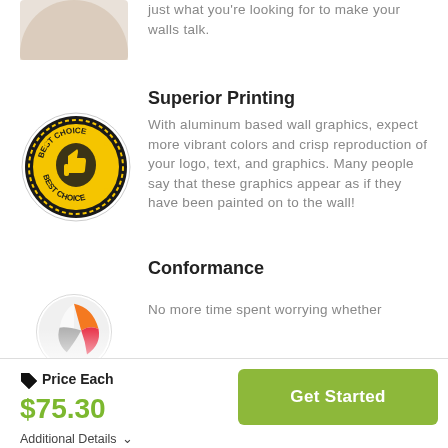just what you’re looking for to make your walls talk.
Superior Printing
[Figure (illustration): Best Choice badge with thumbs up icon, circular gold and black design]
With aluminum based wall graphics, expect more vibrant colors and crisp reproduction of your logo, text, and graphics. Many people say that these graphics appear as if they have been painted on to the wall!
Conformance
[Figure (illustration): Circular illustration with orange and red graphic design elements]
No more time spent worrying whether
Price Each
$75.30
Additional Details
Get Started